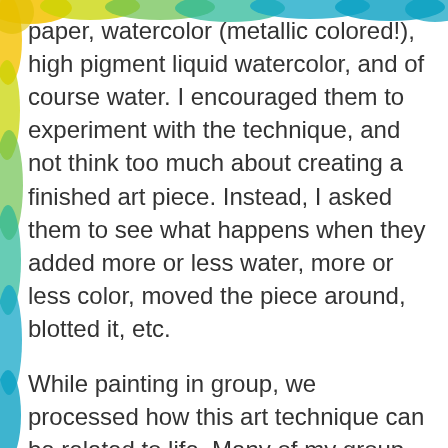[Figure (illustration): Colorful watercolor splash border at the top and left edges of the page with yellow, green, blue, and teal hues]
paper, watercolor (metallic colored!), high pigment liquid watercolor, and of course water. I encouraged them to experiment with the technique, and not think too much about creating a finished art piece. Instead, I asked them to see what happens when they added more or less water, more or less color, moved the piece around, blotted it, etc.
While painting in group, we processed how this art technique can be related to life. Many of my group members shared that they had a difficult time “letting go” in general, and getting out of their own way at times. When I asked them to explore